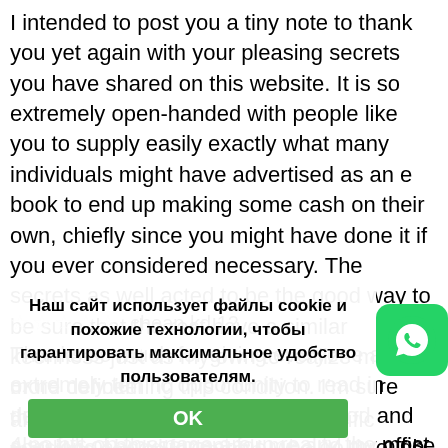I intended to post you a tiny note to thank you yet again with your pleasing secrets you have shared on this website. It is so extremely open-handed with people like you to supply easily exactly what many individuals might have advertised as an e book to end up making some cash on their own, chiefly since you might have done it if you ever considered necessary. The secrets as well acted to be the good way to be sure that the rest have a similar keenness just as my own to realize many more concerning this condition. I'm sure there are several more pleasurable sessions ahead for people who go through your website.
☆☆☆☆☆  cheap kd 12
Thanks so much for giving everyone an extremely terrific opportunity to read in detail from here. It really is very good and also full of amusement for me and my office mates to search the blog no less than 3 ti... or ...nd definitely also actually pleased with your terrific thoughts served... Certain 4 points on this page are in reality the most impressive we have all had.
Наш сайт использует файлы cookie и похожие технологии, чтобы гарантировать максимальное удобство пользователям.